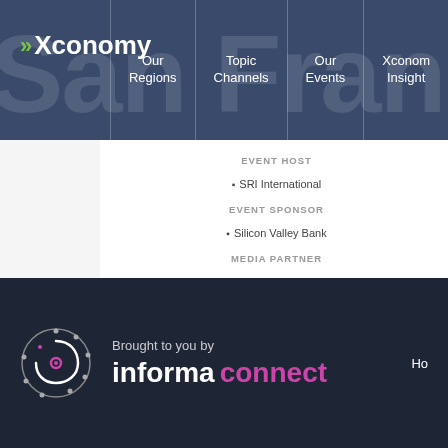Xconomy | Our Regions | Topic Channels | Our Events | Xconomy Insight
EVENT HOST
[Figure (logo): SRI International logo]
EVENT SPONSOR
[Figure (logo): Silicon Valley Bank logo]
MEDIA PARTNER
[Figure (logo): RoboBusiness logo]
PROUD TO PARTICIPATE IN
[Figure (logo): National Robotics Week logo]
Brought to you by informa connect